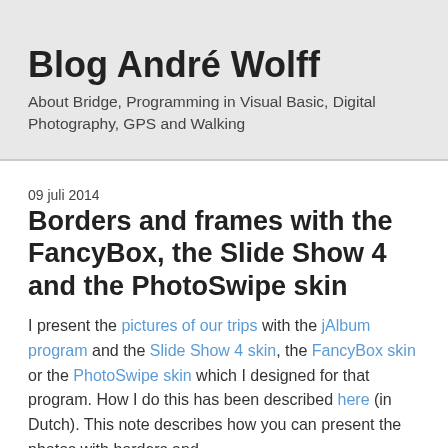Blog André Wolff
About Bridge, Programming in Visual Basic, Digital Photography, GPS and Walking
09 juli 2014
Borders and frames with the FancyBox, the Slide Show 4 and the PhotoSwipe skin
I present the pictures of our trips with the jAlbum program and the Slide Show 4 skin, the FancyBox skin or the PhotoSwipe skin which I designed for that program. How I do this has been described here (in Dutch). This note describes how you can present the photos with borders and